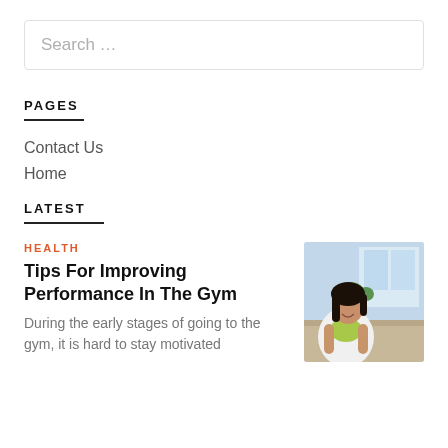Search …
PAGES
Contact Us
Home
LATEST
HEALTH
Tips For Improving Performance In The Gym
During the early stages of going to the gym, it is hard to stay motivated
[Figure (photo): Woman in gym attire smiling indoors, wearing a green sports bra and white jacket, with plants and windows in the background]